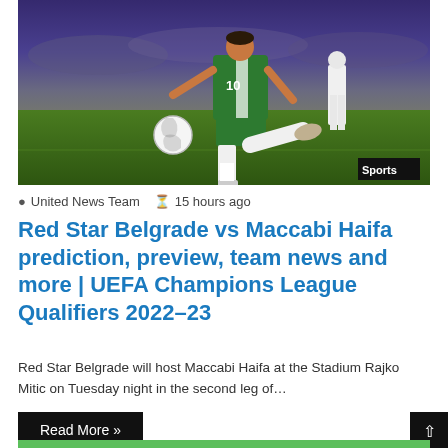[Figure (photo): Soccer player wearing green and white jersey number 10 running with a ball during a UEFA Champions League qualifier match, stadium audience visible in background. Sports badge in bottom-right corner.]
United News Team  15 hours ago
Red Star Belgrade vs Maccabi Haifa prediction, preview, team news and more | UEFA Champions League Qualifiers 2022–23
Red Star Belgrade will host Maccabi Haifa at the Stadium Rajko Mitic on Tuesday night in the second leg of…
Read More »